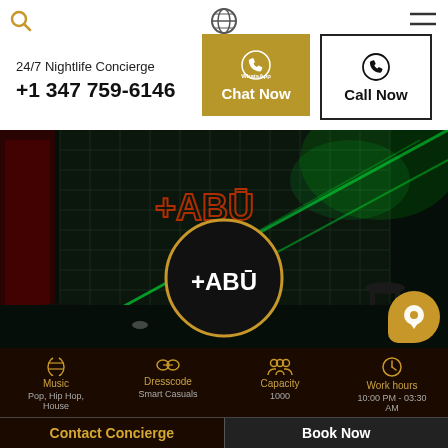24/7 Nightlife Concierge
+1 347 759-6146
Chat Now
Call Now
[Figure (photo): Nightclub interior of TABU with green laser lights, dark atmosphere, grid wall backdrop, and circular TABU logo medallion in center]
Music
Pop, Hip Hop, House
Dresscode
Smart Casuals
Capacity
1000
Work hours
10:00 PM - 03:30 AM
Contact Concierge
Book Now